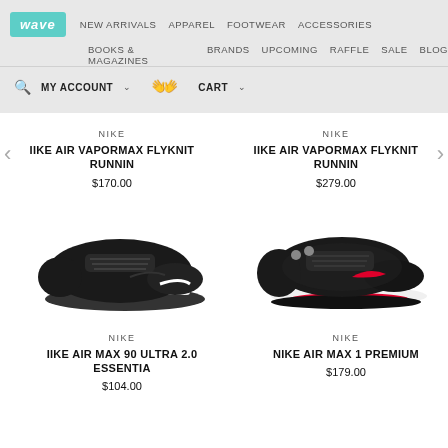wave | NEW ARRIVALS APPAREL FOOTWEAR ACCESSORIES BOOKS & MAGAZINES BRANDS UPCOMING RAFFLE SALE BLOG
MY ACCOUNT  CART
NIKE
IIKE AIR VAPORMAX FLYKNIT RUNNIN
$170.00
NIKE
IIKE AIR VAPORMAX FLYKNIT RUNNIN
$279.00
[Figure (photo): Black Nike Air Max 90 Ultra 2.0 sneaker, side view on white background]
[Figure (photo): Black and red Nike Air Max 1 Premium sneaker, side view on white background]
NIKE
IIKE AIR MAX 90 ULTRA 2.0 ESSENTIA
$104.00
NIKE
NIKE AIR MAX 1 PREMIUM
$179.00